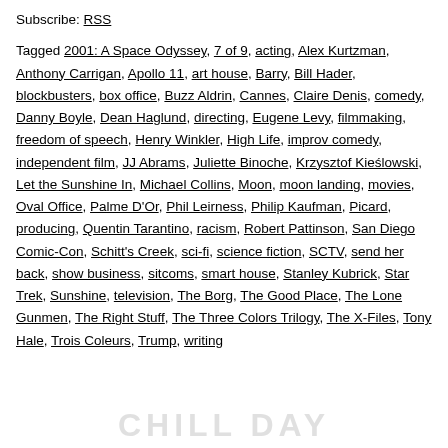Subscribe: RSS
Tagged 2001: A Space Odyssey, 7 of 9, acting, Alex Kurtzman, Anthony Carrigan, Apollo 11, art house, Barry, Bill Hader, blockbusters, box office, Buzz Aldrin, Cannes, Claire Denis, comedy, Danny Boyle, Dean Haglund, directing, Eugene Levy, filmmaking, freedom of speech, Henry Winkler, High Life, improv comedy, independent film, JJ Abrams, Juliette Binoche, Krzysztof Kieślowski, Let the Sunshine In, Michael Collins, Moon, moon landing, movies, Oval Office, Palme D'Or, Phil Leirness, Philip Kaufman, Picard, producing, Quentin Tarantino, racism, Robert Pattinson, San Diego Comic-Con, Schitt's Creek, sci-fi, science fiction, SCTV, send her back, show business, sitcoms, smart house, Stanley Kubrick, Star Trek, Sunshine, television, The Borg, The Good Place, The Lone Gunmen, The Right Stuff, The Three Colors Trilogy, The X-Files, Tony Hale, Trois Coleurs, Trump, writing
[Figure (logo): CHILL DAY logo in grey watermark style at bottom of page]